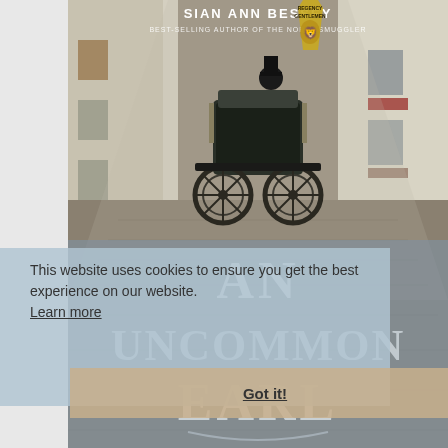[Figure (illustration): Book cover of 'An Uncommon Earl' by Sian Ann Bessey. Shows a horse-drawn carriage on a cobblestone narrow street flanked by white stone buildings. A figure in a top hat sits atop the carriage. The upper portion shows the author name and a series badge (Regency Gentlemen) with a lion logo. The lower half shows large decorative serif text reading 'AN UNCOMMON EARL' in pale blue-grey tones over the cobblestone street.]
This website uses cookies to ensure you get the best experience on our website. Learn more
Got it!